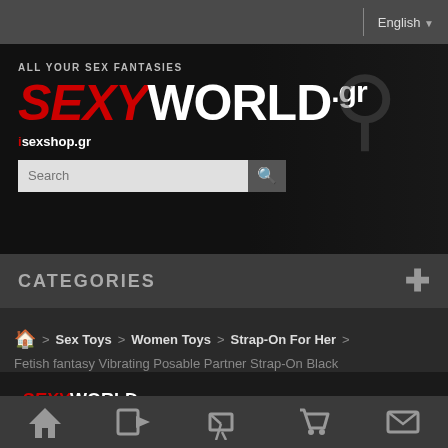English
[Figure (logo): SexyWorld.gr banner logo with tagline ALL YOUR SEX FANTASIES and search bar]
CATEGORIES
Home > Sex Toys > Women Toys > Strap-On For Her >
Fetish fantasy Vibrating Posable Partner Strap-On Black
[Figure (screenshot): SexyWorld.gr mini logo thumbnail with Zoom label]
Home | Login | Cart | Contact navigation icons